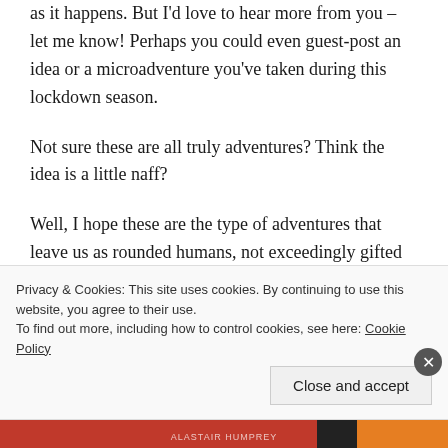as it happens. But I'd love to hear more from you – let me know! Perhaps you could even guest-post an idea or a microadventure you've taken during this lockdown season.
Not sure these are all truly adventures? Think the idea is a little naff?
Well, I hope these are the type of adventures that leave us as rounded humans, not exceedingly gifted in one area (physical ability) but lacking in character, curiosity, imagination or awareness of others in the world.
Privacy & Cookies: This site uses cookies. By continuing to use this website, you agree to their use.
To find out more, including how to control cookies, see here: Cookie Policy
Close and accept